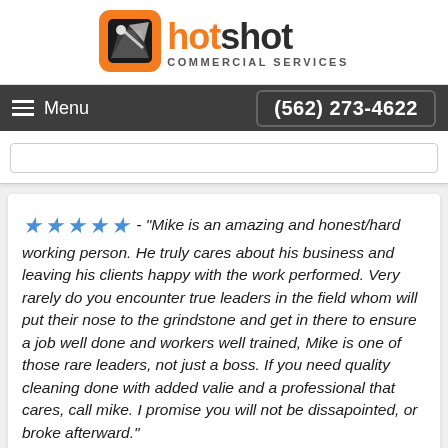[Figure (logo): Hotshot Commercial Services logo with orange square icon and wordmark]
Menu  (562) 273-4622
★★★★★ - "Mike is an amazing and honest/hard working person. He truly cares about his business and leaving his clients happy with the work performed. Very rarely do you encounter true leaders in the field whom will put their nose to the grindstone and get in there to ensure a job well done and workers well trained, Mike is one of those rare leaders, not just a boss. If you need quality cleaning done with added valie and a professional that cares, call mike. I promise you will not be dissapointed, or broke afterward."